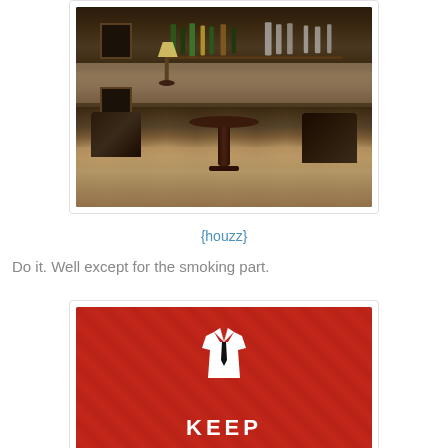[Figure (photo): Interior photo of an upscale bar/lounge with dark wood paneling, bar counter with bottles, round table and dark leather chairs in foreground]
{houzz}
Do it. Well except for the smoking part.
[Figure (photo): Red background image with white dress shirt and tie icon above the text KEEP]